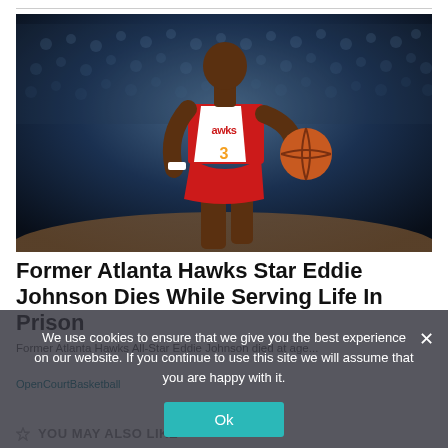[Figure (photo): Basketball player in Atlanta Hawks red jersey number 3, holding a basketball, crowd in background]
Former Atlanta Hawks Star Eddie Johnson Dies While Serving Life In Prison
Former Atlanta Hawks All-Star Eddie Johnson died at age...
OpenCourtBasketball
We use cookies to ensure that we give you the best experience on our website. If you continue to use this site we will assume that you are happy with it.
YOU MAY ALSO LIKE